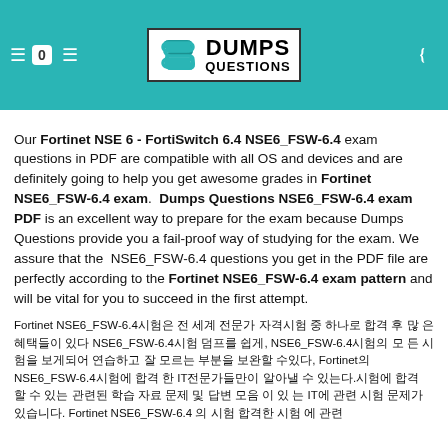[Figure (logo): DumpsQuestions logo with stylized S icon on teal header background]
Our Fortinet NSE 6 - FortiSwitch 6.4 NSE6_FSW-6.4 exam questions in PDF are compatible with all OS and devices and are definitely going to help you get awesome grades in Fortinet NSE6_FSW-6.4 exam. Dumps Questions NSE6_FSW-6.4 exam PDF is an excellent way to prepare for the exam because Dumps Questions provide you a fail-proof way of studying for the exam. We assure that the NSE6_FSW-6.4 questions you get in the PDF file are perfectly according to the Fortinet NSE6_FSW-6.4 exam pattern and will be vital for you to succeed in the first attempt.
Fortinet NSE6_FSW-6.4시험은 전 세계 전문가 자격시험 중 하나로 합격 후 많 은 혜택들이 있다 NSE6_FSW-6.4시험 덤프를 쉽게, NSE6_FSW-6.4시험의 모 든 시험을 보게되어 연습하고 잘 모르는 부분을 보완할 수있다, Fortinet의 NSE6_FSW-6.4시험에 합격 한 IT전문가들만이 알아낼 수 있는다.시험에 합격 할 수 있는 관련된 학습 자료 문제 및 답변 모음 이 있 는 IT에 관련 시험 문제가 있습니다. Fortinet NSE6_FSW-6.4 의 시험 합격한 시험 에 관련